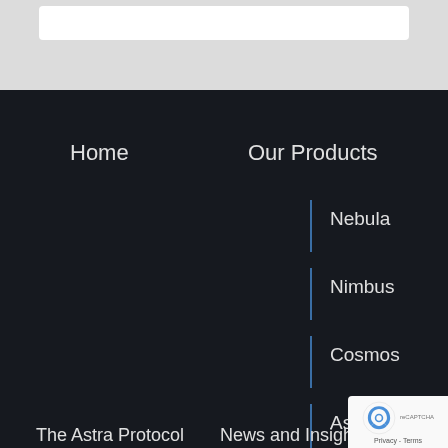[Figure (screenshot): White search box / input field on light gray background]
Home
Our Products
Nebula
Nimbus
Cosmos
Astra
The Astra Protocol
News and Insights
[Figure (logo): reCAPTCHA badge with robot icon and Privacy · Terms text]